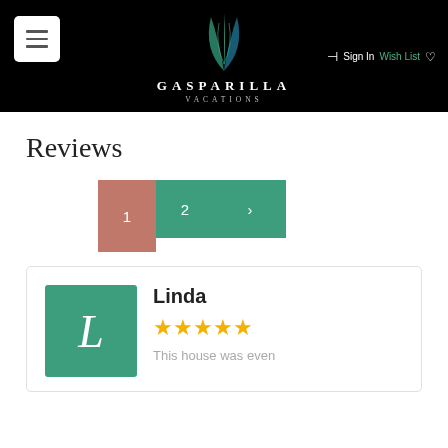Gasparilla Vacations — Sign In | Wish List
Reviews
Pagination: 1, 2, >
Linda — 5 stars — This house was even